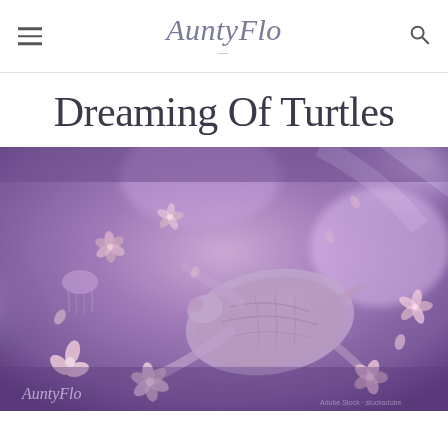AuntyFlo
Dreaming Of Turtles
[Figure (photo): Dreamy purple-toned underwater scene showing a sea turtle swimming among floating flowers and jellyfish-like shapes with soft purple clouds and light. AuntyFlo watermark visible in lower left corner.]